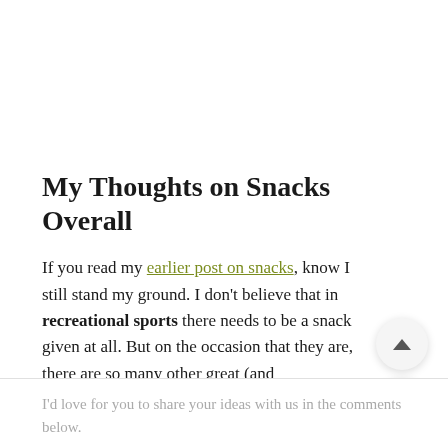My Thoughts on Snacks Overall
If you read my earlier post on snacks, know I still stand my ground. I don't believe that in recreational sports there needs to be a snack given at all. But on the occasion that they are, there are so many other great (and affordable!) ideas for real food snacks that can feed the teams and classes!
I'd love for you to share your ideas with us in the comments below.